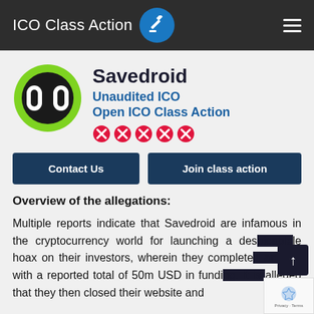ICO Class Action
Savedroid
Unaudited ICO
Open ICO Class Action
[Figure (logo): Savedroid logo: black circle with green ring and '00' text inside]
Contact Us   Join class action
Overview of the allegations:
Multiple reports indicate that Savedroid are infamous in the cryptocurrency world for launching a despicable hoax on their investors, wherein they completed an ICO with a reported total of 50m USD in funding. It is alleged that they then closed their website and